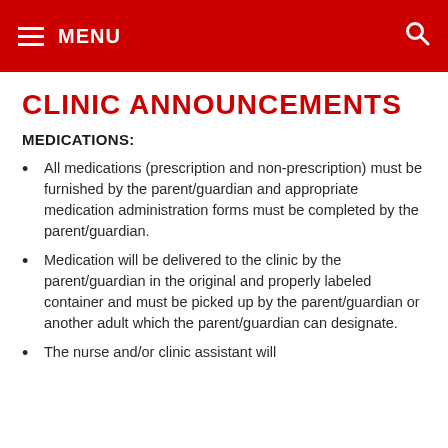MENU
CLINIC ANNOUNCEMENTS
MEDICATIONS:
All medications (prescription and non-prescription) must be furnished by the parent/guardian and appropriate medication administration forms must be completed by the parent/guardian.
Medication will be delivered to the clinic by the parent/guardian in the original and properly labeled container and must be picked up by the parent/guardian or another adult which the parent/guardian can designate.
The nurse and/or clinic assistant will